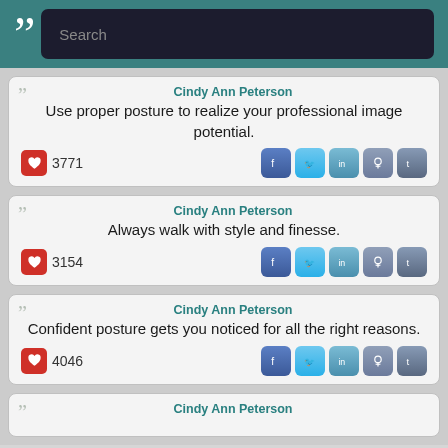Search
Cindy Ann Peterson
Use proper posture to realize your professional image potential.
❤ 3771
Cindy Ann Peterson
Always walk with style and finesse.
❤ 3154
Cindy Ann Peterson
Confident posture gets you noticed for all the right reasons.
❤ 4046
Cindy Ann Peterson